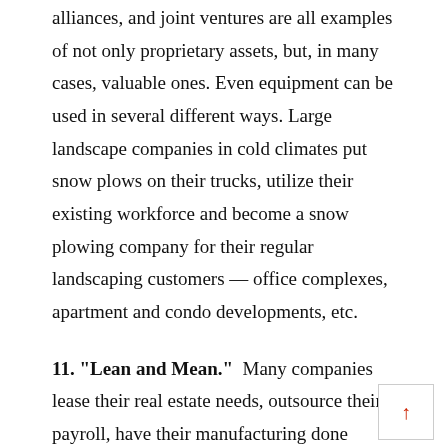alliances, and joint ventures are all examples of not only proprietary assets, but, in many cases, valuable ones. Even equipment can be used in several different ways. Large landscape companies in cold climates put snow plows on their trucks, utilize their existing workforce and become a snow plowing company for their regular landscaping customers — office complexes, apartment and condo developments, etc.
11. "Lean and Mean." Many companies lease their real estate needs, outsource their payroll, have their manufacturing done offshore, or have UPS handle all of their logistical needs. Since all non-core requirements are done by someone else, the company can focus its efforts on what they do best.